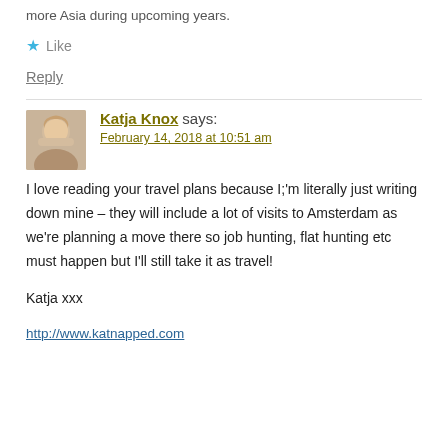more Asia during upcoming years.
Like
Reply
Katja Knox says:
February 14, 2018 at 10:51 am
I love reading your travel plans because I;'m literally just writing down mine – they will include a lot of visits to Amsterdam as we're planning a move there so job hunting, flat hunting etc must happen but I'll still take it as travel!
Katja xxx
http://www.katnapped.com